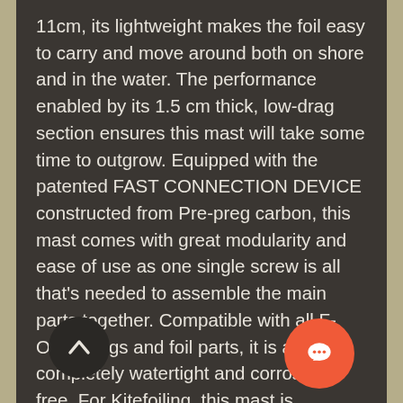11cm, its lightweight makes the foil easy to carry and move around both on shore and in the water. The performance enabled by its 1.5 cm thick, low-drag section ensures this mast will take some time to outgrow. Equipped with the patented FAST CONNECTION DEVICE constructed from Pre-preg carbon, this mast comes with great modularity and ease of use as one single screw is all that's needed to assemble the main parts together. Compatible with all F-ONE wings and foil parts, it is also completely watertight and corrosion free. For Kitefoiling, this mast is recommended with the Freeride 800 and Freeride 600 to get the most enjoyable rides, fitted to an F-ONE Foilboard thanks to the